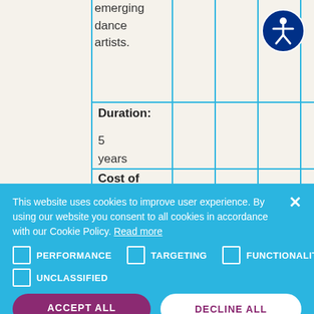emerging dance artists.
Duration: 5 years
Cost of capital:
This website uses cookies to improve user experience. By using our website you consent to all cookies in accordance with our Cookie Policy. Read more
PERFORMANCE
TARGETING
FUNCTIONALITY
UNCLASSIFIED
ACCEPT ALL
DECLINE ALL